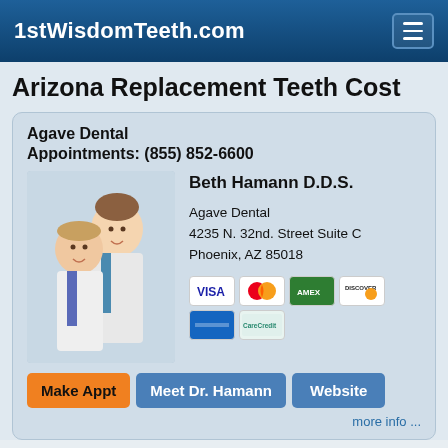1stWisdomTeeth.com
Arizona Replacement Teeth Cost
Agave Dental
Appointments: (855) 852-6600
[Figure (photo): Photo of two dental professionals in white coats, a woman and a man, smiling]
Beth Hamann D.D.S.

Agave Dental
4235 N. 32nd. Street Suite C
Phoenix, AZ 85018
[Figure (other): Payment method icons: VISA, MasterCard, American Express, Discover, another card, CareCredit]
Make Appt   Meet Dr. Hamann   Website
more info ...